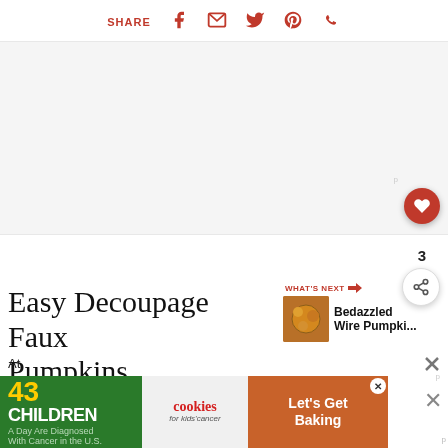SHARE
[Figure (other): Large blank/white article hero image area]
Easy Decoupage Faux Pumpkins
[Figure (other): WHAT'S NEXT → thumbnail for Bedazzled Wire Pumpki...]
At
[Figure (other): Advertisement banner: 43 CHILDREN A Day Are Diagnosed With Cancer in the U.S. | cookies for kids cancer | Let's Get Baking]